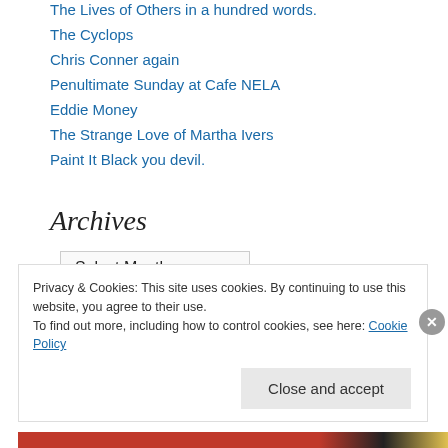The Lives of Others in a hundred words.
The Cyclops
Chris Conner again
Penultimate Sunday at Cafe NELA
Eddie Money
The Strange Love of Martha Ivers
Paint It Black you devil.
Archives
Select Month
Privacy & Cookies: This site uses cookies. By continuing to use this website, you agree to their use.
To find out more, including how to control cookies, see here: Cookie Policy
Close and accept